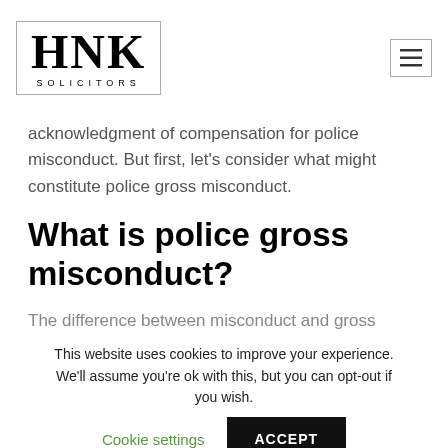[Figure (logo): HNK Solicitors logo in a rectangular border, with large serif HNK letters and smaller SOLICITORS text below]
acknowledgment of compensation for police misconduct. But first, let's consider what might constitute police gross misconduct.
What is police gross misconduct?
The difference between misconduct and gross
This website uses cookies to improve your experience. We'll assume you're ok with this, but you can opt-out if you wish.
Cookie settings   ACCEPT
Essentially, gross misconduct is a breach of the standards of police behaviour (outlined above)
CALL US    CLAIM NOW